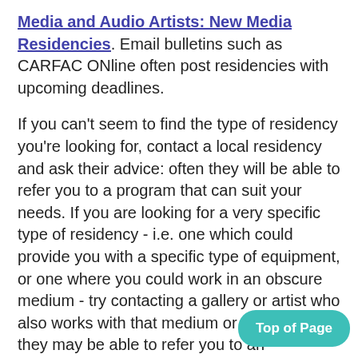Media and Audio Artists: New Media Residencies. Email bulletins such as CARFAC ONline often post residencies with upcoming deadlines.
If you can't seem to find the type of residency you're looking for, contact a local residency and ask their advice: often they will be able to refer you to a program that can suit your needs. If you are looking for a very specific type of residency - i.e. one which could provide you with a specific type of equipment, or one where you could work in an obscure medium - try contacting a gallery or artist who also works with that medium or equipment; they may be able to refer you to an appropriate residency